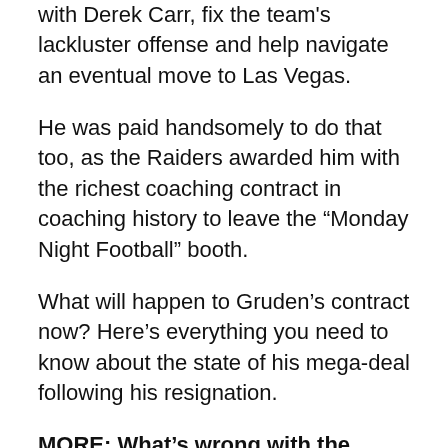with Derek Carr, fix the team's lackluster offense and help navigate an eventual move to Las Vegas.
He was paid handsomely to do that too, as the Raiders awarded him with the richest coaching contract in coaching history to leave the “Monday Night Football” booth.
What will happen to Gruden’s contract now? Here’s everything you need to know about the state of his mega-deal following his resignation.
MORE: What’s wrong with the Chiefs’ defense, explained
Jon Gruden’s contract